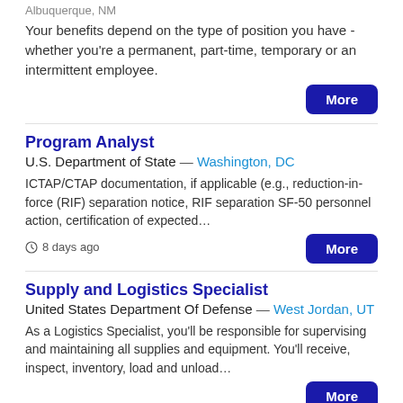Albuquerque, NM
Your benefits depend on the type of position you have - whether you're a permanent, part-time, temporary or an intermittent employee.
More
Program Analyst
U.S. Department of State — Washington, DC
ICTAP/CTAP documentation, if applicable (e.g., reduction-in-force (RIF) separation notice, RIF separation SF-50 personnel action, certification of expected…
8 days ago
More
Supply and Logistics Specialist
United States Department Of Defense — West Jordan, UT
As a Logistics Specialist, you'll be responsible for supervising and maintaining all supplies and equipment. You'll receive, inspect, inventory, load and unload…
More
National Incident Management Assistance Team